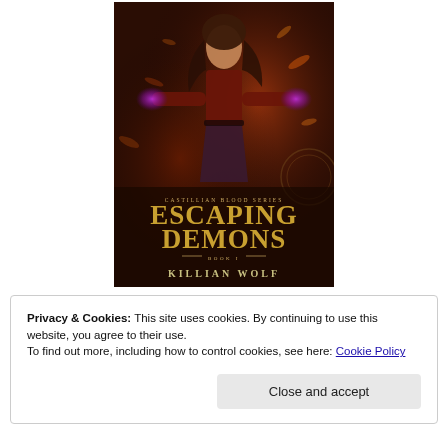[Figure (illustration): Book cover for 'Escaping Demons' (Book 1) from the Castillian Blood Series by Killian Wolf. Features a woman with long dark hair wearing a dark red top, arms outstretched with purple magical energy glowing in her hands. Background shows warm orange and red tones with dark fantasy elements. Title text in gold: CASTILLIAN BLOOD SERIES / ESCAPING DEMONS / BOOK 1 / KILLIAN WOLF]
Privacy & Cookies: This site uses cookies. By continuing to use this website, you agree to their use.
To find out more, including how to control cookies, see here: Cookie Policy
Close and accept